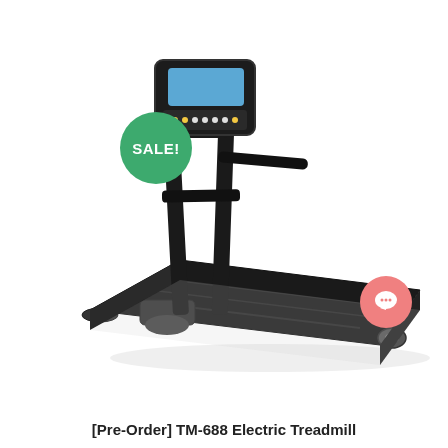[Figure (photo): A black electric treadmill shown at an angle. The treadmill has a digital console/display at the top, handlebars, a long black running belt, and wheels at the base. A green circular badge with 'SALE!' text overlaps the upper left area of the treadmill. A pink/salmon circular chat icon badge is visible in the lower right corner of the image.]
[Pre-Order] TM-688 Electric Treadmill